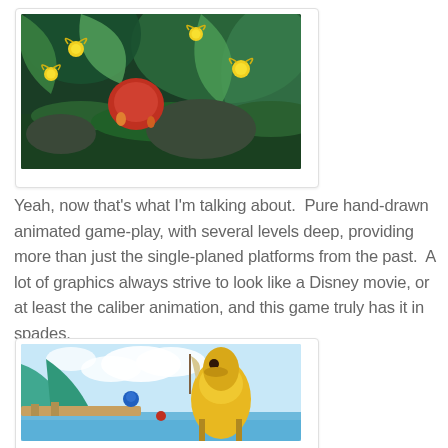[Figure (screenshot): Video game screenshot showing a lush jungle/forest scene with colorful animated characters including a large red creature and small yellow flying creatures among giant green plants and rocks]
Yeah, now that's what I'm talking about.  Pure hand-drawn animated game-play, with several levels deep, providing more than just the single-planed platforms from the past.  A lot of graphics always strive to look like a Disney movie, or at least the caliber animation, and this game truly has it in spades.
[Figure (screenshot): Video game screenshot showing a coastal/port scene with colorful animated buildings, a large yellow structure resembling a creature or tower, teal/blue water, and sailing vessels in a bright daytime sky]